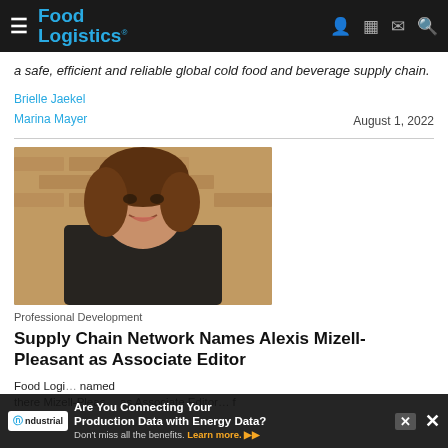Food Logistics
a safe, efficient and reliable global cold food and beverage supply chain.
Brielle Jaekel
Marina Mayer
August 1, 2022
[Figure (photo): Portrait photo of a young woman with brown wavy hair smiling, standing in front of a brick wall, wearing a black top.]
Professional Development
Supply Chain Network Names Alexis Mizell-Pleasant as Associate Editor
Food Logi… named
there Mizell-Pleas… as Associate Editor… f
[Figure (infographic): Advertisement overlay: Are You Connecting Your Production Data with Energy Data? Don't miss all the benefits. Learn more. ndustrial brand logo. Close button (X).]